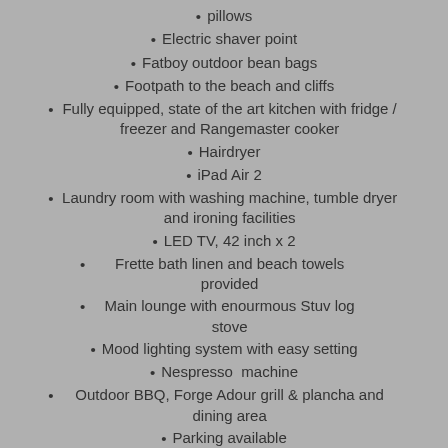pillows
Electric shaver point
Fatboy outdoor bean bags
Footpath to the beach and cliffs
Fully equipped, state of the art kitchen with fridge / freezer and Rangemaster cooker
Hairdryer
iPad Air 2
Laundry room with washing machine, tumble dryer and ironing facilities
LED TV, 42 inch x 2
Frette bath linen and beach towels provided
Main lounge with enourmous Stuv log stove
Mood lighting system with easy setting
Nespresso  machine
Outdoor BBQ, Forge Adour grill & plancha and dining area
Parking available
Play Station 4
Roberts DAB digital radio
Sea view
Sky lights
Sky TV with sports package